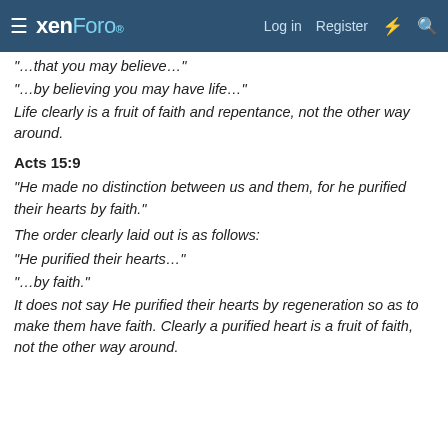xenForo | Log in | Register
“…that you may believe…”
“…by believing you may have life…”
Life clearly is a fruit of faith and repentance, not the other way around.
Acts 15:9
“He made no distinction between us and them, for he purified their hearts by faith.”
The order clearly laid out is as follows:
“He purified their hearts…”
“…by faith.”
It does not say He purified their hearts by regeneration so as to make them have faith. Clearly a purified heart is a fruit of faith, not the other way around.